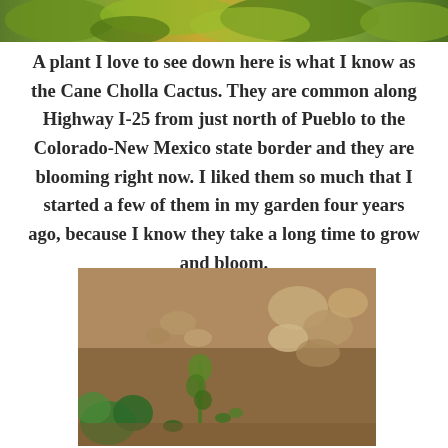[Figure (photo): Partial photo of plants visible at top of page, cropped]
A plant I love to see down here is what I know as the Cane Cholla Cactus. They are common along Highway I-25 from just north of Pueblo to the Colorado-New Mexico state border and they are blooming right now. I liked them so much that I started a few of them in my garden four years ago, because I know they take a long time to grow and bloom.
[Figure (photo): Close-up photo of small plants and seedlings growing in rocky dry garden soil]